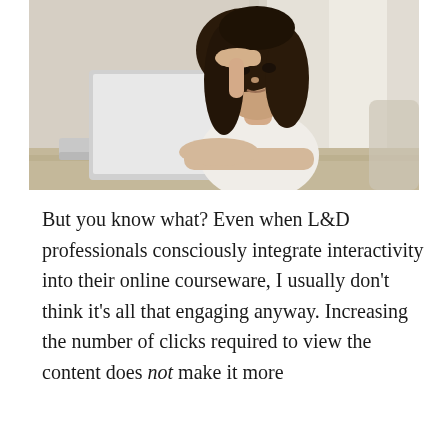[Figure (photo): A woman with dark hair leaning on a desk in front of a laptop, resting her hand on her forehead with a frustrated or tired expression, looking upward. Bright window light in background.]
But you know what? Even when L&D professionals consciously integrate interactivity into their online courseware, I usually don't think it's all that engaging anyway. Increasing the number of clicks required to view the content does not make it more